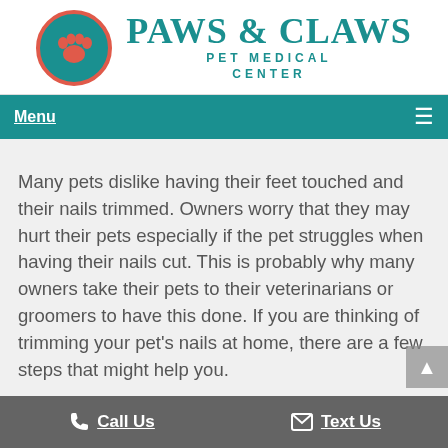[Figure (logo): Paws & Claws Pet Medical Center logo with teal and red paw print circle icon on the left, and teal serif text 'PAWS & CLAWS' on top, 'PET MEDICAL CENTER' below in smaller spaced letters]
Menu  ☰
Many pets dislike having their feet touched and their nails trimmed. Owners worry that they may hurt their pets especially if the pet struggles when having their nails cut. This is probably why many owners take their pets to their veterinarians or groomers to have this done. If you are thinking of trimming your pet's nails at home, there are a few steps that might help you.